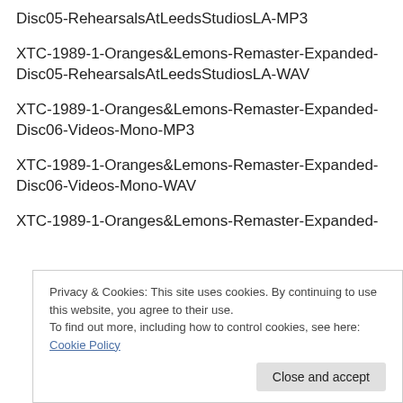Disc05-RehearsalsAtLeedsStudiosLA-MP3
XTC-1989-1-Oranges&Lemons-Remaster-Expanded-Disc05-RehearsalsAtLeedsStudiosLA-WAV
XTC-1989-1-Oranges&Lemons-Remaster-Expanded-Disc06-Videos-Mono-MP3
XTC-1989-1-Oranges&Lemons-Remaster-Expanded-Disc06-Videos-Mono-WAV
XTC-1989-1-Oranges&Lemons-Remaster-Expanded-
Privacy & Cookies: This site uses cookies. By continuing to use this website, you agree to their use.
To find out more, including how to control cookies, see here: Cookie Policy